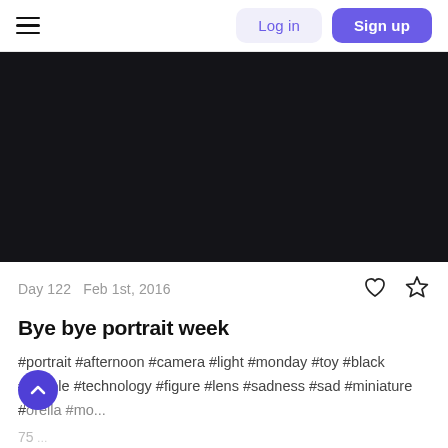Log in  Sign up
[Figure (photo): Large dark/black image area, nearly black background, serving as a hero/banner photo area]
Day 122  Feb 1st, 2016
Bye bye portrait week
#portrait #afternoon #camera #light #monday #toy #black #people #technology #figure #lens #sadness #sad #miniature #...orella #mo...